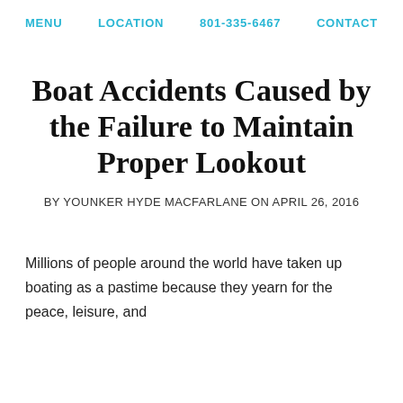MENU    LOCATION    801-335-6467    CONTACT
Boat Accidents Caused by the Failure to Maintain Proper Lookout
BY YOUNKER HYDE MACFARLANE ON APRIL 26, 2016
Millions of people around the world have taken up boating as a pastime because they yearn for the peace, leisure, and